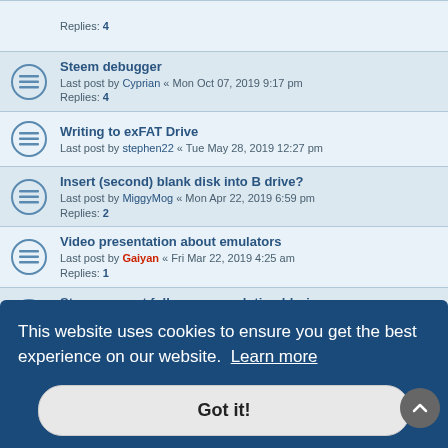Steem debugger - Last post by Cyprian « Mon Oct 07, 2019 9:17 pm - Replies: 4
Writing to exFAT Drive - Last post by stephen22 « Tue May 28, 2019 12:27 pm
Insert (second) blank disk into B drive? - Last post by MiggyMog « Mon Apr 22, 2019 6:59 pm - Replies: 2
Video presentation about emulators - Last post by Gaiyan « Fri Mar 22, 2019 4:25 am - Replies: 1
Steem correct fullscreen resolution bluriness - Last post by Cyprian « Sun Feb 10, 2019 7:22 pm - Replies: 1
Blitter emulation bug? - Last post by XiA « Wed Oct 31, 2018 11:34 am
This website uses cookies to ensure you get the best experience on our website. Learn more
Got it!